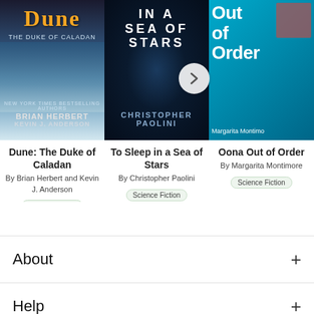[Figure (illustration): Book cover: Dune: The Duke of Caladan by Brian Herbert and Kevin J. Anderson]
Dune: The Duke of Caladan
By Brian Herbert and Kevin J. Anderson
Science Fiction
[Figure (illustration): Book cover: To Sleep in a Sea of Stars by Christopher Paolini]
To Sleep in a Sea of Stars
By Christopher Paolini
Science Fiction
[Figure (illustration): Book cover: Oona Out of Order by Margarita Montimore (partially visible)]
Oona Out of Order
By Margarita Montimore
Science Fiction
About
Help